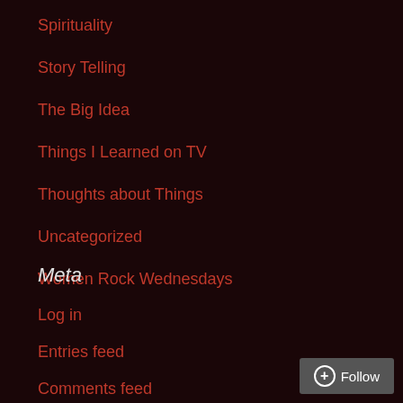Spirituality
Story Telling
The Big Idea
Things I Learned on TV
Thoughts about Things
Uncategorized
Women Rock Wednesdays
Meta
Log in
Entries feed
Comments feed
WordPress.org